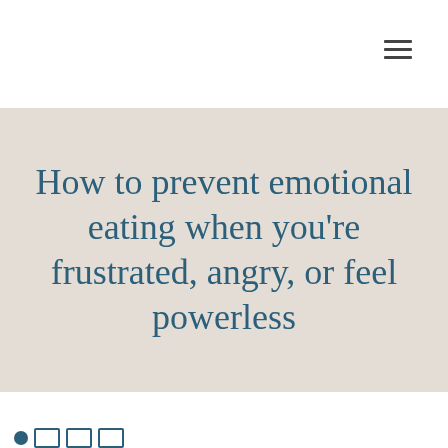How to prevent emotional eating when you’re frustrated, angry, or feel powerless